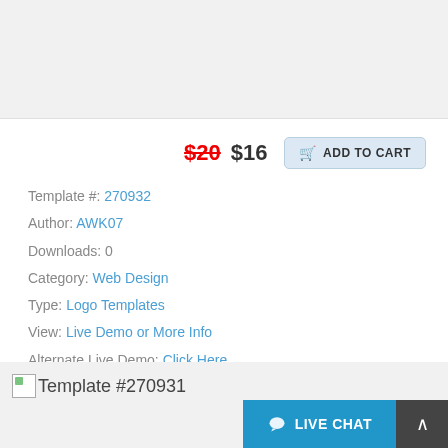$20 $16 ADD TO CART
Template #: 270932
Author: AWK07
Downloads: 0
Category: Web Design
Type: Logo Templates
View: Live Demo or More Info
Alternate Live Demo: Click Here
Template #270931
LIVE CHAT